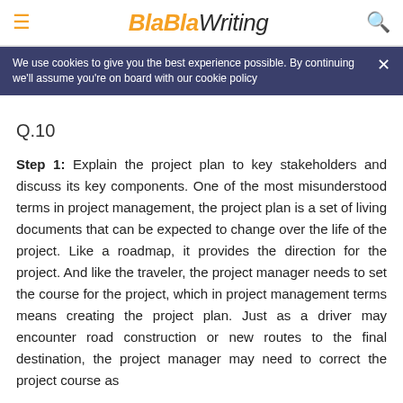BlaBlaWriting
We use cookies to give you the best experience possible. By continuing we'll assume you're on board with our cookie policy
Q.10
Step 1: Explain the project plan to key stakeholders and discuss its key components. One of the most misunderstood terms in project management, the project plan is a set of living documents that can be expected to change over the life of the project. Like a roadmap, it provides the direction for the project. And like the traveler, the project manager needs to set the course for the project, which in project management terms means creating the project plan. Just as a driver may encounter road construction or new routes to the final destination, the project manager may need to correct the project course as